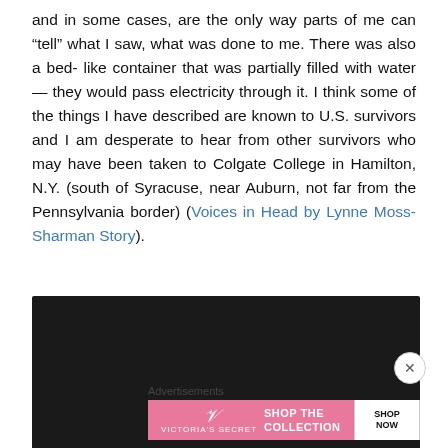and in some cases, are the only way parts of me can “tell” what I saw, what was done to me. There was also a bed-like container that was partially filled with water — they would pass electricity through it. I think some of the things I have described are known to U.S. survivors and I am desperate to hear from other survivors who may have been taken to Colgate College in Hamilton, N.Y. (south of Syracuse, near Auburn, not far from the Pennsylvania border) (Voices in Head by Lynne Moss-Sharman Story).
[Figure (other): Dark rectangular advertisement banner area with close button]
Advertisements
[Figure (other): Victoria's Secret advertisement banner: SHOP THE COLLECTION with SHOP NOW button]